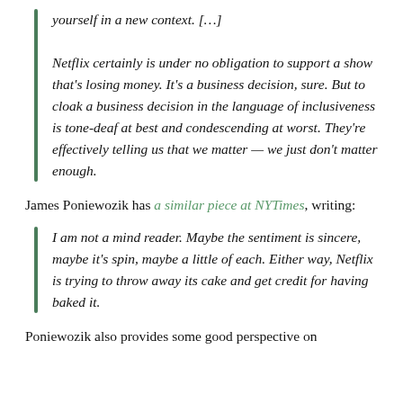yourself in a new context. […]
Netflix certainly is under no obligation to support a show that's losing money. It's a business decision, sure. But to cloak a business decision in the language of inclusiveness is tone-deaf at best and condescending at worst. They're effectively telling us that we matter — we just don't matter enough.
James Poniewozik has a similar piece at NYTimes, writing:
I am not a mind reader. Maybe the sentiment is sincere, maybe it's spin, maybe a little of each. Either way, Netflix is trying to throw away its cake and get credit for having baked it.
Poniewozik also provides some good perspective on